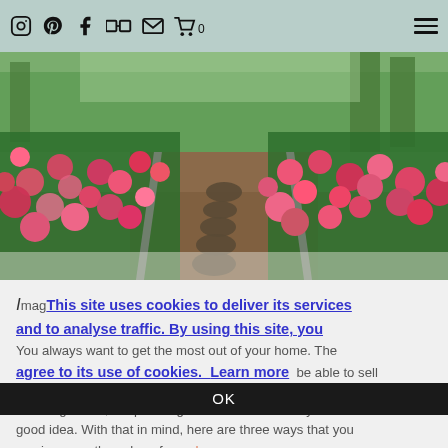Social media icons and hamburger menu
[Figure (photo): A garden path made of round stepping stones flanked by rows of pink and red tulips, with green trees in the background.]
Imag... You always want to get the most out of your home. The higher its value, the more you are going to be able to sell it for in the future. You might not be looking to sell and move right now, but planning for the future is always a good idea. With that in mind, here are three ways that you can increase the value of your home.
This site uses cookies to deliver its services and to analyse traffic. By using this site, you agree to its use of cookies. Learn more
OK